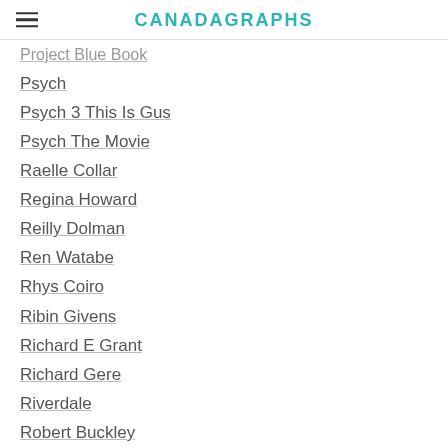CANADAGRAPHS
Project Blue Book
Psych
Psych 3 This Is Gus
Psych The Movie
Raelle Collar
Regina Howard
Reilly Dolman
Ren Watabe
Rhys Coiro
Ribin Givens
Richard E Grant
Richard Gere
Riverdale
Robert Buckley
Robert Duvall